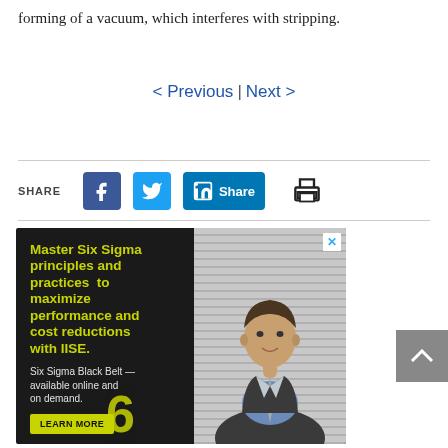forming of a vacuum, which interferes with stripping.
< Previous | Next >
[Figure (screenshot): Share bar with Facebook, Twitter, LinkedIn Share buttons and a print icon]
[Figure (infographic): Advertisement: Master Six Sigma principles and practices to maximize performance and cost reductions with IISE. Six Sigma Black Belt — available online and on demand. Learn More button. Photo of a man in a suit smiling.]